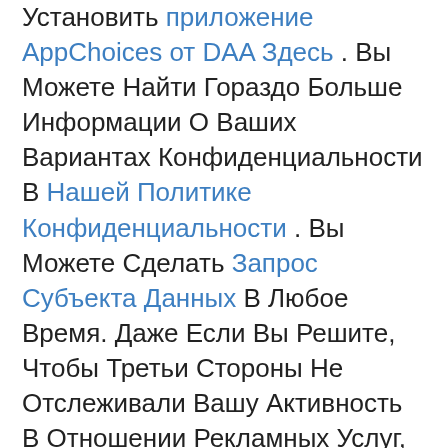Установить приложение AppChoices от DAA Здесь . Вы Можете Найти Гораздо Больше Информации О Ваших Вариантах Конфиденциальности В Нашей Политике Конфиденциальности . Вы Можете Сделать Запрос Субъекта Данных В Любое Время. Даже Если Вы Решите, Чтобы Третьи Стороны Не Отслеживали Вашу Активность В Отношении Рекламных Услуг, Вы Все Равно Будете Видеть Неперсонализированные Объявления На Нашем Сайте.
Нажимая «Продолжить» Ниже И Используя Наши Сайты Или Приложения, Вы Соглашаетесь С Тем, Что Мы И Наши